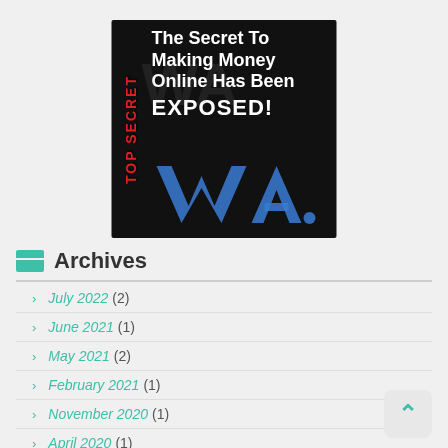[Figure (infographic): Ad image with black background. Left side has vertical red text reading 'TOP SECRET'. Right side has white bold text: 'The Secret To Making Money Online Has Been EXPOSED!' with a blue WA logo at the bottom.]
Archives
July 2022 (2)
June 2021 (1)
May 2021 (2)
February 2021 (1)
November 2020 (1)
April 2020 (1)
March 2020 (1)